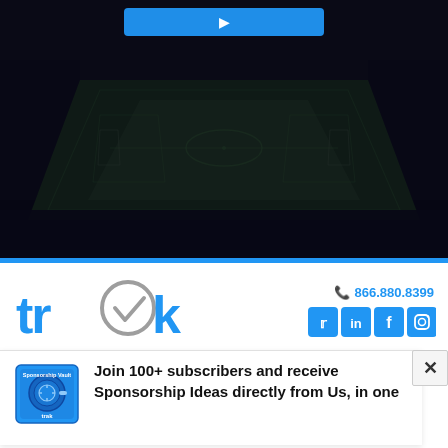[Figure (photo): Dark aerial/overhead view of a soccer/football stadium at night with floodlights, crowd in the stands, green pitch visible from above. Monochrome dark blue-black tones. A blue button/bar is partially visible at the top center.]
[Figure (logo): trak logo — lowercase blue letters 'trak' with a gray checkmark circle replacing the letter 'a', styled as a brand mark for a sports sponsorship company]
📞 866.880.8399
[Figure (illustration): Social media icons row: Twitter bird, LinkedIn 'in', Facebook 'f', Instagram camera — all in blue square rounded buttons]
[Figure (illustration): Blue safe/vault icon with circular dial, labeled 'Sponsorship Vault' and 'trak' at the bottom — newsletter signup icon]
Join 100+ subscribers and receive Sponsorship Ideas directly from Us, in one